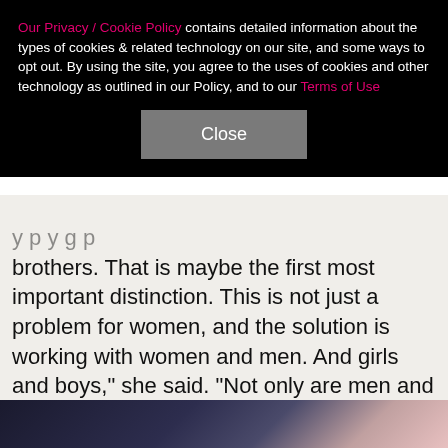Our Privacy / Cookie Policy contains detailed information about the types of cookies & related technology on our site, and some ways to opt out. By using the site, you agree to the uses of cookies and other technology as outlined in our Policy, and to our Terms of Use
Close
brothers. That is maybe the first most important distinction. This is not just a problem for women, and the solution is working with women and men. And girls and boys," she said. "Not only are men and boys also victims of these crimes, but those who are perpetrating these crimes need to have other men remind them what it really is to be a man. A man with a healthy relationship to women," she added. "And all societies need to be clear about not tolerating this behavior."
[Figure (photo): Dark background image strip at the bottom of the page, partially visible, showing dark tones with a hint of a figure.]